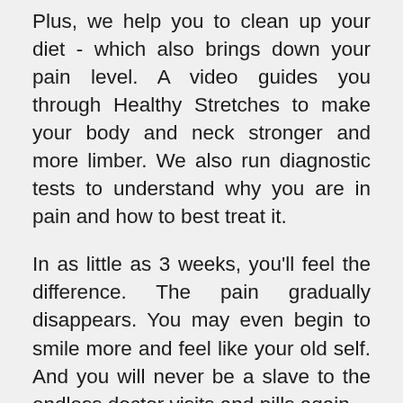Plus, we help you to clean up your diet - which also brings down your pain level. A video guides you through Healthy Stretches to make your body and neck stronger and more limber. We also run diagnostic tests to understand why you are in pain and how to best treat it.
In as little as 3 weeks, you'll feel the difference. The pain gradually disappears. You may even begin to smile more and feel like your old self. And you will never be a slave to the endless doctor visits and pills again.
We are confident that this program will